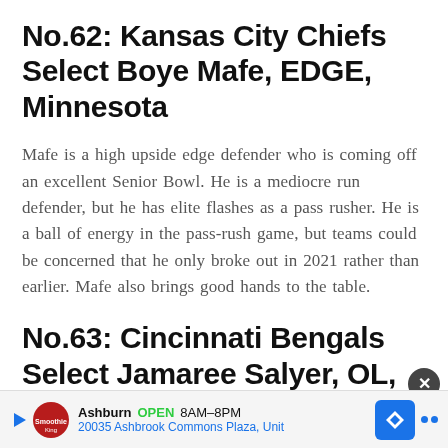No.62: Kansas City Chiefs Select Boye Mafe, EDGE, Minnesota
Mafe is a high upside edge defender who is coming off an excellent Senior Bowl. He is a mediocre run defender, but he has elite flashes as a pass rusher. He is a ball of energy in the pass-rush game, but teams could be concerned that he only broke out in 2021 rather than earlier. Mafe also brings good hands to the table.
No.63: Cincinnati Bengals Select Jamaree Salyer, OL, Georgia
[Figure (infographic): Advertisement bar for Smoothie King in Ashburn, OPEN 8AM-8PM, 20035 Ashbrook Commons Plaza, Unit, with map/navigation icon and close button]